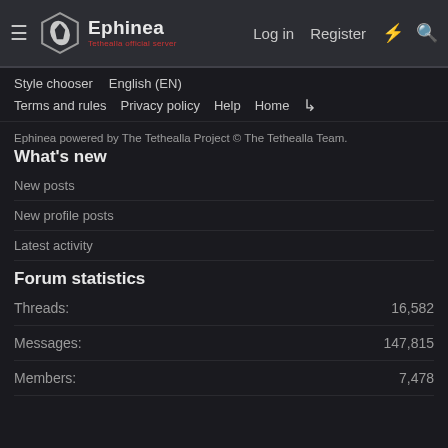Ephinea — Tethealla official server | Log in | Register
Style chooser   English (EN)
Terms and rules   Privacy policy   Help   Home   RSS
Ephinea powered by The Tethealla Project © The Tethealla Team.
What's new
New posts
New profile posts
Latest activity
Forum statistics
Threads: 16,582
Messages: 147,815
Members: 7,478